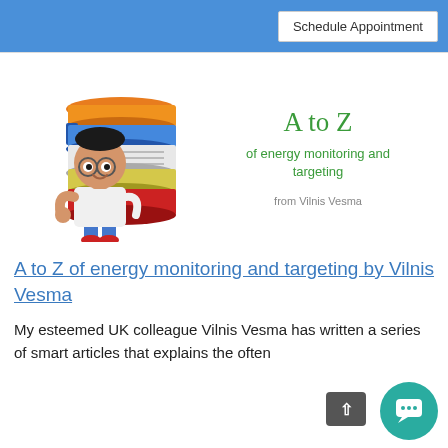Schedule Appointment
[Figure (illustration): Cartoon illustration of a boy with glasses carrying a tall stack of colorful books (orange, blue, white, yellow, red). Next to it: 'A to Z of energy monitoring and targeting from Vilnis Vesma' in green text.]
A to Z of energy monitoring and targeting by Vilnis Vesma
My esteemed UK colleague Vilnis Vesma has written a series of smart articles that explains the often